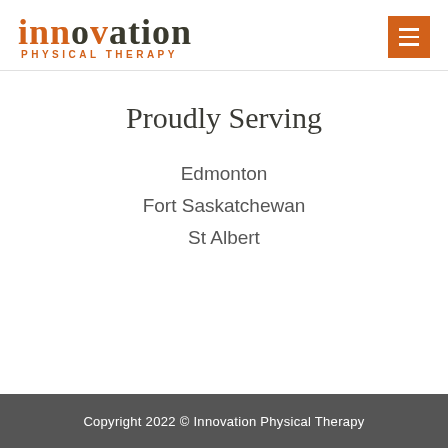[Figure (logo): Innovation Physical Therapy logo with 'innovation' in dark serif text with orange dots, and 'PHYSICAL THERAPY' in orange caps below]
Proudly Serving
Edmonton
Fort Saskatchewan
St Albert
Copyright 2022 © Innovation Physical Therapy